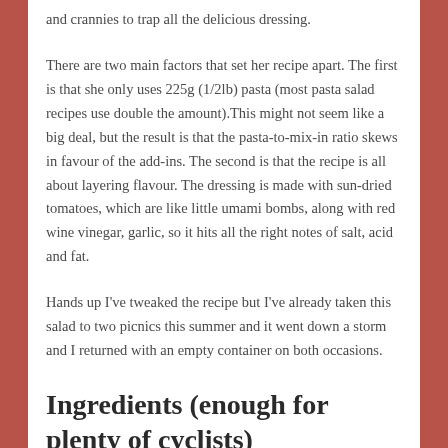and crannies to trap all the delicious dressing.
There are two main factors that set her recipe apart. The first is that she only uses 225g (1/2lb) pasta (most pasta salad recipes use double the amount).This might not seem like a big deal, but the result is that the pasta-to-mix-in ratio skews in favour of the add-ins. The second is that the recipe is all about layering flavour. The dressing is made with sun-dried tomatoes, which are like little umami bombs, along with red wine vinegar, garlic, so it hits all the right notes of salt, acid and fat.
Hands up I've tweaked the recipe but I've already taken this salad to two picnics this summer and it went down a storm and I returned with an empty container on both occasions.
Ingredients (enough for plenty of cyclists)